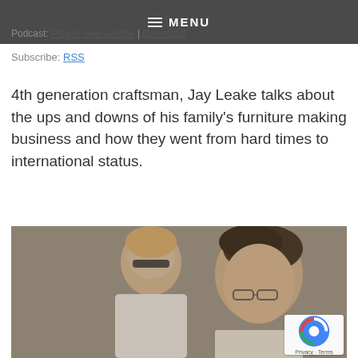MENU
Podcast: Play in new window | Download
Subscribe: RSS
4th generation craftsman, Jay Leake talks about the ups and downs of his family's furniture making business and how they went from hard times to international status.
[Figure (photo): Two men in a workshop or informal setting; the man in the foreground has dark hair and glasses and is looking down; the man in the background has lighter hair and is wearing sunglasses; both are wearing light-colored shirts.]